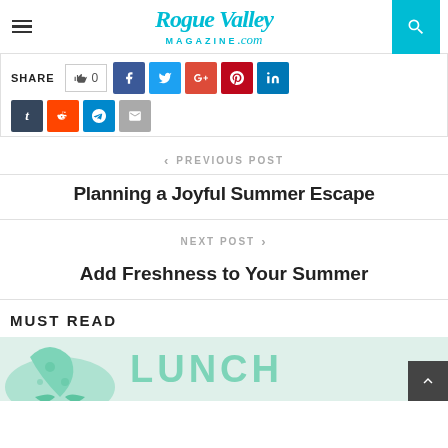Rogue Valley MAGAZINE.com
SHARE 0
< PREVIOUS POST
Planning a Joyful Summer Escape
NEXT POST >
Add Freshness to Your Summer
MUST READ
[Figure (illustration): Partial image showing a mermaid tail and the word LUNCH in teal letters on a light background]